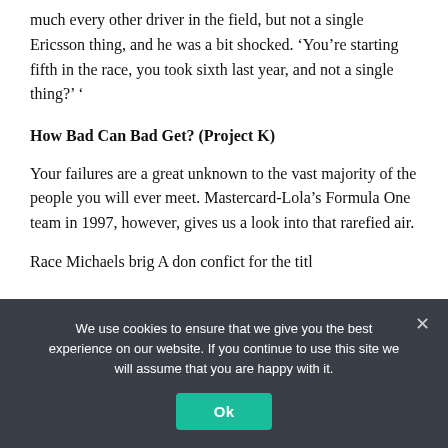much every other driver in the field, but not a single Ericsson thing, and he was a bit shocked. ‘You’re starting fifth in the race, you took sixth last year, and not a single thing?’ ‘
How Bad Can Bad Get? (Project K)
Your failures are a great unknown to the vast majority of the people you will ever meet. Mastercard-Lola’s Formula One team in 1997, however, gives us a look into that rarefied air.
Race Michaels brig A don confict for the titl
We use cookies to ensure that we give you the best experience on our website. If you continue to use this site we will assume that you are happy with it.